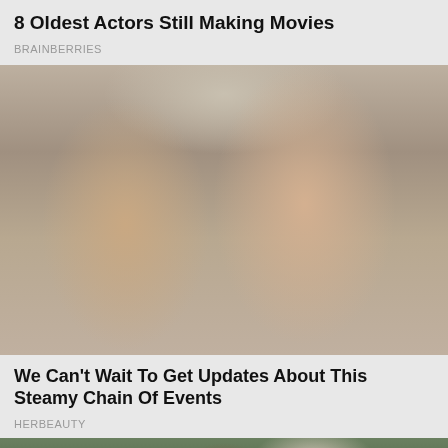8 Oldest Actors Still Making Movies
BRAINBERRIES
[Figure (photo): Close-up selfie of a young man with short brown hair and a young woman with dark hair pulled back, both smiling, outdoors setting]
We Can't Wait To Get Updates About This Steamy Chain Of Events
HERBEAUTY
[Figure (photo): Partial photo of a woman with dark hair amid trees and branches outdoors]